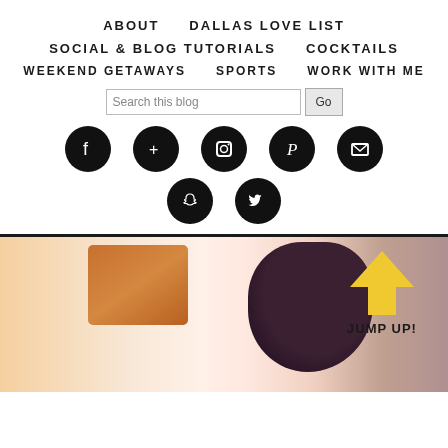ABOUT | DALLAS LOVE LIST
SOCIAL & BLOG TUTORIALS | COCKTAILS
WEEKEND GETAWAYS | SPORTS | WORK WITH ME
[Figure (screenshot): Blog navigation menu with social icons (Facebook, Google+, Instagram, Pinterest, Email, Snapchat, Twitter), a search bar with Go button, and a photo of a person with a bun hairstyle with a yellow up-arrow and JUMP UP! label]